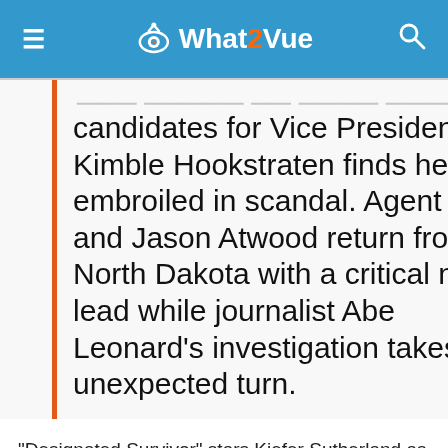What2Vue
candidates for Vice President, Kimble Hookstraten finds herself embroiled in scandal. Agent Wells and Jason Atwood return from North Dakota with a critical new lead while journalist Abe Leonard’s investigation takes an unexpected turn.
“Designated Survivor” stars Kiefer Sutherland as Tom Kirkman, Natascha McElhone as Alex Kirkman, Adan Canto as Aaron Shore, Italia Ricci as Emily